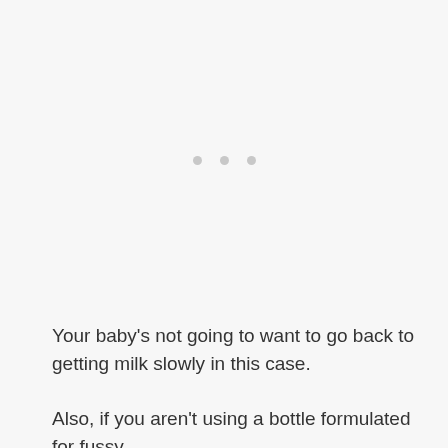[Figure (other): Three small grey dots centered in the upper portion of the page, resembling a loading indicator or section divider.]
Your baby’s not going to want to go back to getting milk slowly in this case.
Also, if you aren’t using a bottle formulated for fussy